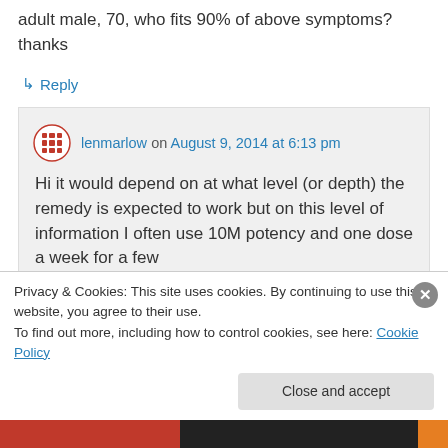adult male, 70, who fits 90% of above symptoms? thanks
↳ Reply
lenmarlow on August 9, 2014 at 6:13 pm
Hi it would depend on at what level (or depth) the remedy is expected to work but on this level of information I often use 10M potency and one dose a week for a few
Privacy & Cookies: This site uses cookies. By continuing to use this website, you agree to their use.
To find out more, including how to control cookies, see here: Cookie Policy
Close and accept